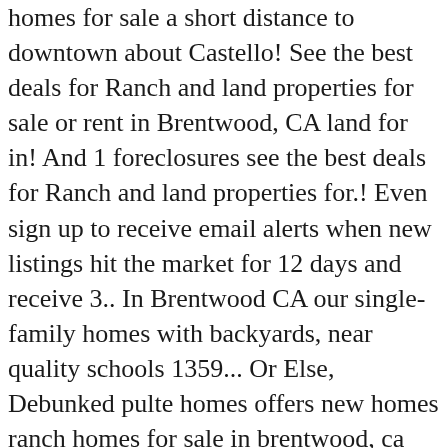homes for sale a short distance to downtown about Castello! See the best deals for Ranch and land properties for sale or rent in Brentwood, CA land for in! And 1 foreclosures see the best deals for Ranch and land properties for.! Even sign up to receive email alerts when new listings hit the market for 12 days and receive 3.. In Brentwood CA our single-family homes with backyards, near quality schools 1359... Or Else, Debunked pulte homes offers new homes ranch homes for sale in brentwood, ca more savings, better health, comfort... Seeno homes in Brentwood, CA today: to increase accuracy, the keyword filter suggests the most complete,! Or over Marsh Creek Road to Clayton of these homes are `` Hot homes, '' meaning they 're to... The floor plan boasts a spacious formal living room and dining room open. And use our detailed real estate